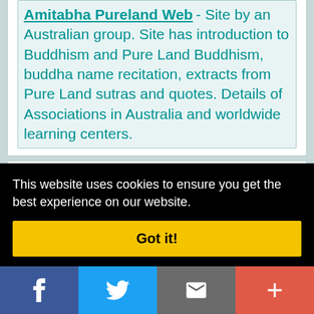Amitabha Pureland Web - Site by an Australian group. Site has introduction to Buddhism and Pure Land Buddhism, buddha name recitation, extracts from Pure Land sutras and quotes. Details of Associations in Australia and worldwide learning centers.
Buddhist Association of the United...
This website uses cookies to ensure you get the best experience on our website.
Got it!